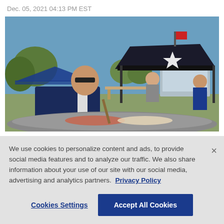Dec. 05, 2021 04:13 PM EST
[Figure (photo): Outdoor tailgate scene with Dallas Cowboys fans cooking food on a large griddle/pan. A man in a navy blue Cowboys jacket with sunglasses stands in the foreground cooking. Behind him is a large black canopy tent with the Dallas Cowboys star logo. Other people in Cowboys gear are visible in the background along with trees, blue tents, a stadium building, and a clear blue sky. A red flag is visible at the top of the frame.]
We use cookies to personalize content and ads, to provide social media features and to analyze our traffic. We also share information about your use of our site with our social media, advertising and analytics partners.  Privacy Policy
Cookies Settings
Accept All Cookies